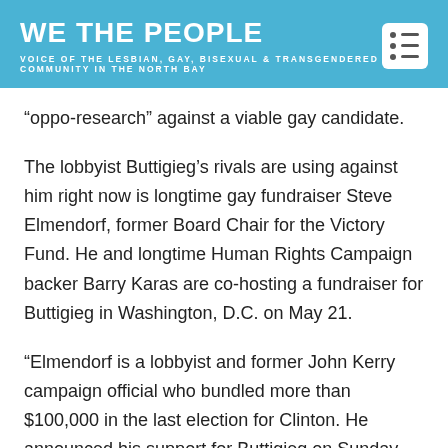WE THE PEOPLE
VOICE OF THE LESBIAN, GAY, BISEXUAL & TRANSGENDERED COMMUNITY IN THE NORTH BAY
“oppo-research” against a viable gay candidate.
The lobbyist Buttigieg’s rivals are using against him right now is longtime gay fundraiser Steve Elmendorf, former Board Chair for the Victory Fund. He and longtime Human Rights Campaign backer Barry Karas are co-hosting a fundraiser for Buttigieg in Washington, D.C. on May 21.
“Elmendorf is a lobbyist and former John Kerry campaign official who bundled more than $100,000 in the last election for Clinton. He announced his support for Buttigieg on Sunday, just as the Democrat officially launched his campaign,” NBC News reported on April 18. “Karas raised at least half a million dollars for Obama in 2012 and was later appointed by Obama to the Kennedy Center’s advisory